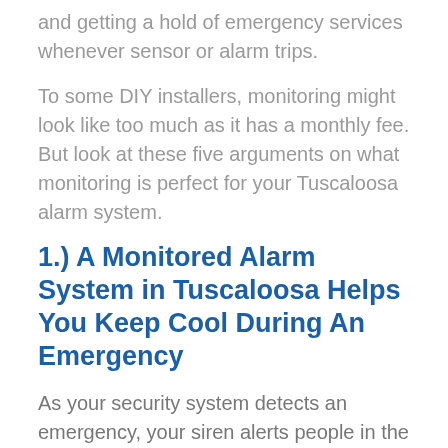and getting a hold of emergency services whenever sensor or alarm trips.
To some DIY installers, monitoring might look like too much as it has a monthly fee. But look at these five arguments on what monitoring is perfect for your Tuscaloosa alarm system.
1.) A Monitored Alarm System in Tuscaloosa Helps You Keep Cool During An Emergency
As your security system detects an emergency, your siren alerts people in the home to find safety immediately. Unfortunately, the sudden sound might give you a shock -- especially when it goes off in the dead of night. It can be difficult to think